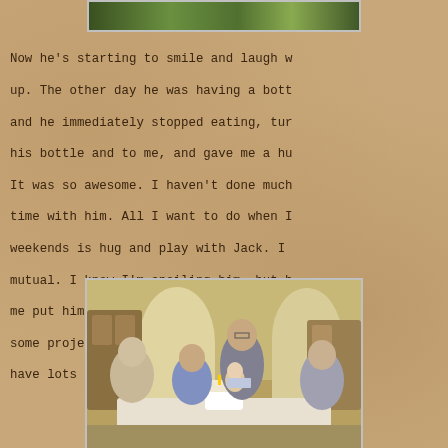[Figure (photo): Top portion of an outdoor photo showing green foliage/plants, cropped at the top of the page]
Now he's starting to smile and laugh w up. The other day he was having a bott and he immediately stopped eating, tur his bottle and to me, and gave me a hu It was so awesome. I haven't done much time with him. All I want to do when I weekends is hug and play with Jack. I mutual. I know I'm spoiling him, but h me put him down when I'm home. I have some projects because his christening have lots of cute DIY ideas for decora
[Figure (photo): Indoor family photo showing several people including children sitting around a table with a birthday cake, in what appears to be a dining room with ornate wooden furniture and arched doorways in the background]